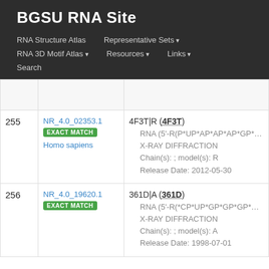BGSU RNA Site
RNA Structure Atlas | Representative Sets ▾ | RNA 3D Motif Atlas ▾ | Resources ▾ | Links ▾ | Search
| # | ID | Info |
| --- | --- | --- |
| 255 | NR_4.0_02353.1
EXACT MATCH
Homo sapiens | 4F3T|R (4F3T)
RNA (5'-R(P*UP*AP*AP*AP*GP*UP*GP*CP*UP*U...
X-RAY DIFFRACTION
Chain(s): ; model(s): R
Release Date: 2012-05-30 |
| 256 | NR_4.0_19620.1
EXACT MATCH | 361D|A (361D)
RNA (5'-R(*CP*UP*GP*GP*GP*CP*GP*GP*GP*CP...
X-RAY DIFFRACTION
Chain(s): ; model(s): A
Release Date: 1998-07-01 |